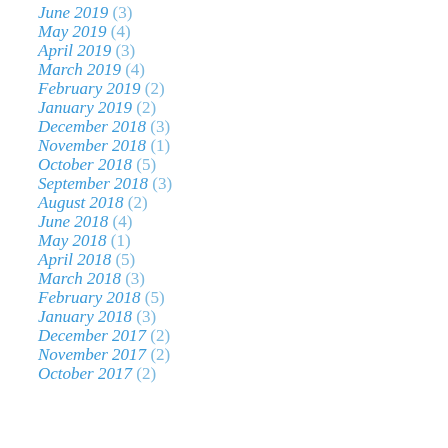June 2019 (3)
May 2019 (4)
April 2019 (3)
March 2019 (4)
February 2019 (2)
January 2019 (2)
December 2018 (3)
November 2018 (1)
October 2018 (5)
September 2018 (3)
August 2018 (2)
June 2018 (4)
May 2018 (1)
April 2018 (5)
March 2018 (3)
February 2018 (5)
January 2018 (3)
December 2017 (2)
November 2017 (2)
October 2017 (2)